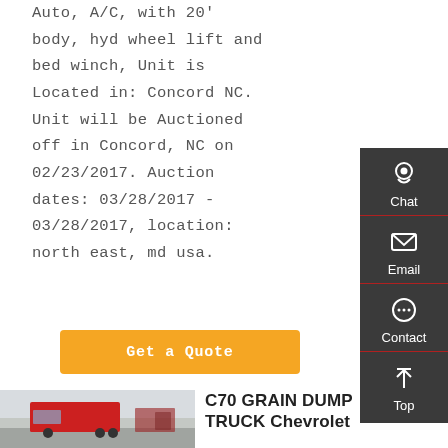Auto, A/C, with 20' body, hyd wheel lift and bed winch, Unit is Located in: Concord NC. Unit will be Auctioned off in Concord, NC on 02/23/2017. Auction dates: 03/28/2017 - 03/28/2017, location: north east, md usa.
Get a Quote
[Figure (photo): Red dump truck / grain truck parked in a lot, photo thumbnail]
C70 GRAIN DUMP TRUCK Chevrolet